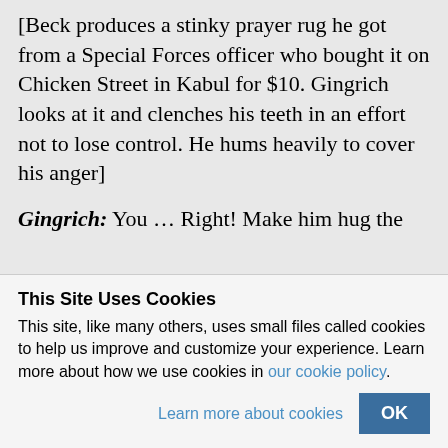[Beck produces a stinky prayer rug he got from a Special Forces officer who bought it on Chicken Street in Kabul for $10. Gingrich looks at it and clenches his teeth in an effort not to lose control. He hums heavily to cover his anger]
Gingrich: You … Right! Make him hug the
This Site Uses Cookies
This site, like many others, uses small files called cookies to help us improve and customize your experience. Learn more about how we use cookies in our cookie policy.
Learn more about cookies   OK